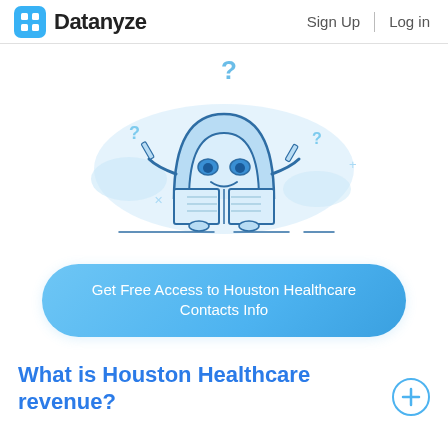Datanyze  Sign Up  Log in
[Figure (illustration): Cartoon robot character holding an open book/map, with question marks floating around it, on a light blue cloud background]
Get Free Access to Houston Healthcare Contacts Info
What is Houston Healthcare revenue?